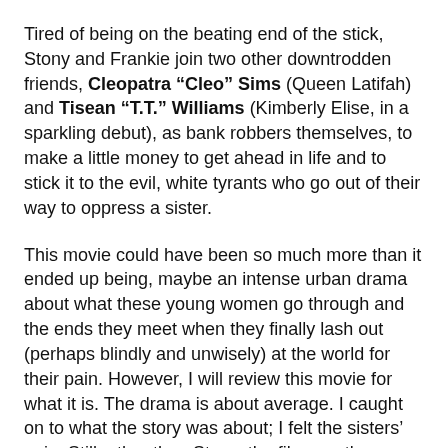Tired of being on the beating end of the stick, Stony and Frankie join two other downtrodden friends, Cleopatra "Cleo" Sims (Queen Latifah) and Tisean "T.T." Williams (Kimberly Elise, in a sparkling debut), as bank robbers themselves, to make a little money to get ahead in life and to stick it to the evil, white tyrants who go out of their way to oppress a sister.
This movie could have been so much more than it ended up being, maybe an intense urban drama about what these young women go through and the ends they meet when they finally lash out (perhaps blindly and unwisely) at the world for their pain. However, I will review this movie for what it is. The drama is about average. I caught on to what the story was about; I felt the sisters' pain. Still, other than Stony, the film mostly relegates the characters to being ciphers, and the script only skims the surface of Stony’s character, for that matter. The filmmakers feel compelled to spend much of the film's time detailing the intricacies and violence of bank robbery, and they do that quite well. As robbers, the four women are clumsy, but they're raw and eager. Their crimes are swift and abrupt, and Gray presents it all in a bracing